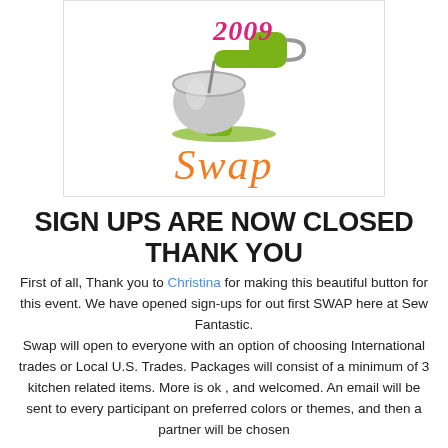[Figure (illustration): A green KitchenAid stand mixer with a chrome bowl displaying '2009' in pink cursive text, and below it the word 'Swap' in large orange italic script. The image is in a white bordered box.]
SIGN UPS ARE NOW CLOSED
THANK YOU
First of all, Thank you to Christina for making this beautiful button for this event. We have opened sign-ups for out first SWAP here at Sew Fantastic.
Swap will open to everyone with an option of choosing International trades or Local U.S. Trades. Packages will consist of a minimum of 3 kitchen related items. More is ok , and welcomed. An email will be sent to every participant on preferred colors or themes, and then a partner will be chosen